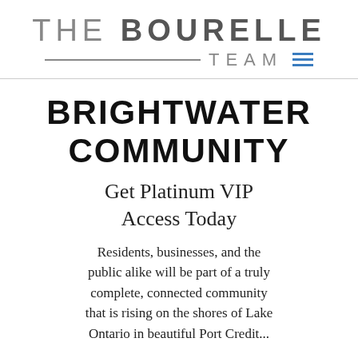THE BOURELLE TEAM
BRIGHTWATER COMMUNITY
Get Platinum VIP Access Today
Residents, businesses, and the public alike will be part of a truly complete, connected community that is rising on the shores of Lake Ontario in beautiful Port Credit...